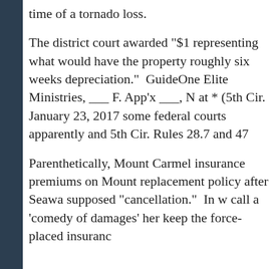time of a tornado loss.
The district court awarded "$1 representing what would have the property roughly six weeks depreciation." GuideOne Elite Ministries, ___ F. App'x ___, N at * (5th Cir. January 23, 2017 some federal courts apparently and 5th Cir. Rules 28.7 and 47
Parenthetically, Mount Carmel insurance premiums on Mount replacement policy after Seawa supposed "cancellation." In w call a 'comedy of damages' her keep the force-placed insuranc